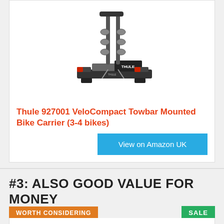[Figure (photo): Thule 927001 VeloCompact towbar mounted bike carrier product photo, showing a black and silver bike rack with arms and straps for 3-4 bikes]
Thule 927001 VeloCompact Towbar Mounted Bike Carrier (3-4 bikes)
View on Amazon UK
#3: ALSO GOOD VALUE FOR MONEY
WORTH CONSIDERING
SALE